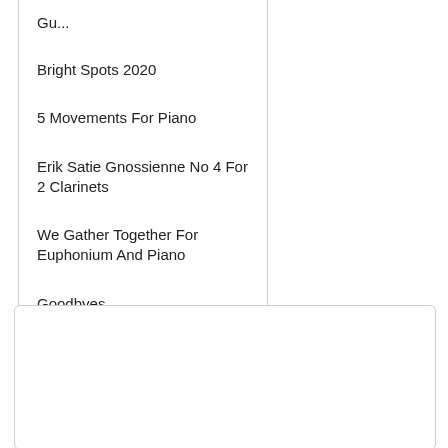Gu...
Bright Spots 2020
5 Movements For Piano
Erik Satie Gnossienne No 4 For 2 Clarinets
We Gather Together For Euphonium And Piano
Goodbyes